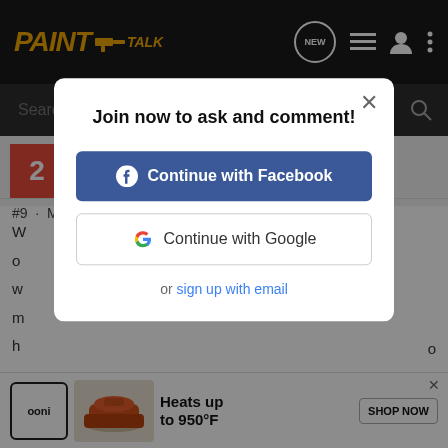PaintTalk
Search Community
Residential repaints and custom finish carpentry
Joined May 8, 2022 · 9 Posts
#9 · May 10, 2022
Join now to ask and comment!
Continue with Facebook
Continue with Google
or sign up with email
[Figure (screenshot): Ooni pizza oven advertisement banner: 'Heats up to 950°F' with SHOP NOW button]